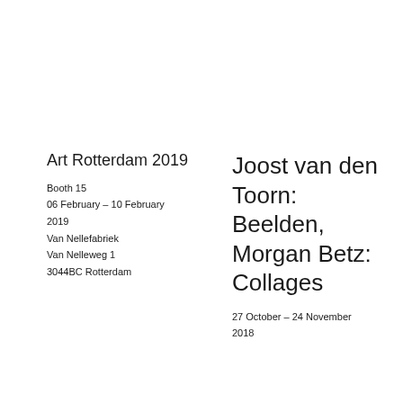Art Rotterdam 2019
Booth 15
06 February – 10 February 2019
Van Nellefabriek
Van Nelleweg 1
3044BC Rotterdam
Joost van den Toorn: Beelden, Morgan Betz: Collages
27 October – 24 November 2018